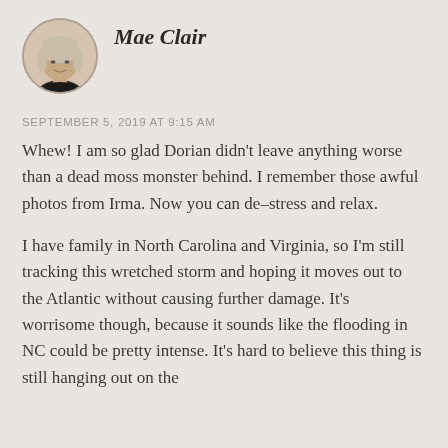[Figure (photo): Circular avatar photo of Mae Clair, a woman with shoulder-length blonde/gray hair wearing a dark turtleneck, shown from shoulders up against a light background]
Mae Clair
SEPTEMBER 5, 2019 AT 9:15 AM
Whew! I am so glad Dorian didn't leave anything worse than a dead moss monster behind. I remember those awful photos from Irma. Now you can de–stress and relax.
I have family in North Carolina and Virginia, so I'm still tracking this wretched storm and hoping it moves out to the Atlantic without causing further damage. It's worrisome though, because it sounds like the flooding in NC could be pretty intense. It's hard to believe this thing is still hanging out on the